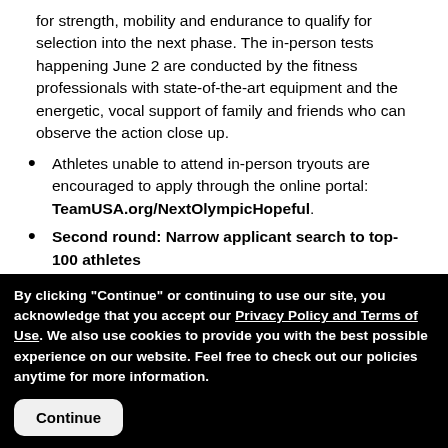for strength, mobility and endurance to qualify for selection into the next phase. The in-person tests happening June 2 are conducted by the fitness professionals with state-of-the-art equipment and the energetic, vocal support of family and friends who can observe the action close up.
Athletes unable to attend in-person tryouts are encouraged to apply through the online portal: TeamUSA.org/NextOlympicHopeful.
Second round: Narrow applicant search to top-100 athletes
Following the first round of tryouts, the applicant pool...
By clicking "Continue" or continuing to use our site, you acknowledge that you accept our Privacy Policy and Terms of Use. We also use cookies to provide you with the best possible experience on our website. Feel free to check out our policies anytime for more information.
Continue